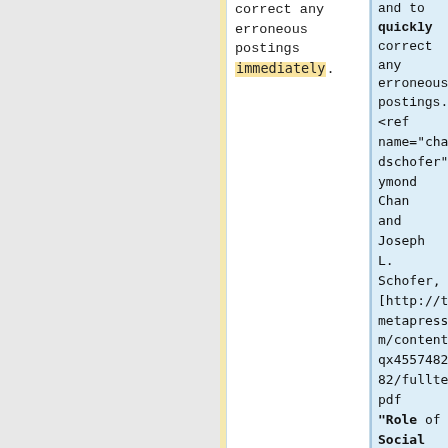correct any erroneous postings immediately.
and to quickly correct any erroneous postings. <ref name="chanandschofer">Raymond Chan and Joseph L. Schofer, [http://trb.metapress.com/content/0wqx455748288482/fulltext.pdf "Role of Social Media in Communicating Transit Disruptions,